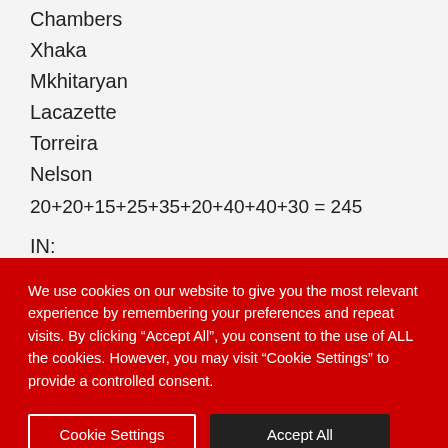Chambers
Xhaka
Mkhitaryan
Lacazette
Torreira
Nelson
20+20+15+25+35+20+40+40+30 = 245
IN:
Mari
Upamecano
Partey
Gueye
We use cookies on our website to give you the most relevant experience by remembering your preferences and repeat visits. By clicking “Accept All”, you consent to the use of ALL the cookies. However, you may visit “Cookie Settings” to provide a controlled consent.
Cookie Settings
Accept All